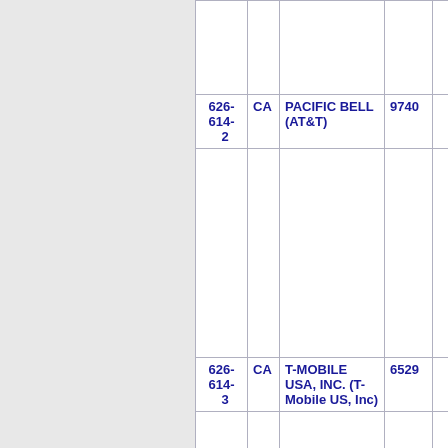| Number | State | Name | Code |  |
| --- | --- | --- | --- | --- |
| 626-614-2 | CA | PACIFIC BELL (AT&T) | 9740 |  |
| 626-614-3 | CA | T-MOBILE USA, INC. (T-Mobile US, Inc) | 6529 |  |